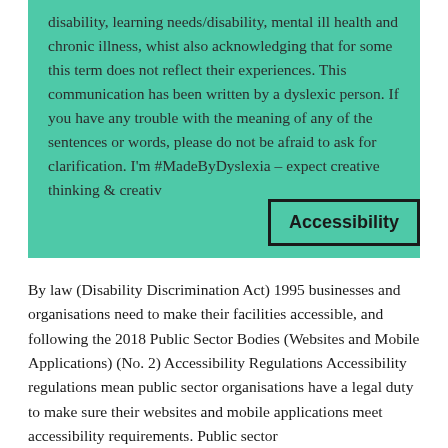disability, learning needs/disability, mental ill health and chronic illness, whist also acknowledging that for some this term does not reflect their experiences.  This communication has been written by a dyslexic person. If you have any trouble with the meaning of any of the sentences or words, please do not be afraid to ask for clarification. I'm #MadeByDyslexia – expect creative thinking & creativ…
Accessibility
By law (Disability Discrimination Act) 1995 businesses and organisations need to make their facilities accessible, and following the 2018 Public Sector Bodies (Websites and Mobile Applications) (No. 2) Accessibility Regulations Accessibility regulations mean public sector organisations have a legal duty to make sure their websites and mobile applications meet accessibility requirements. Public sector…